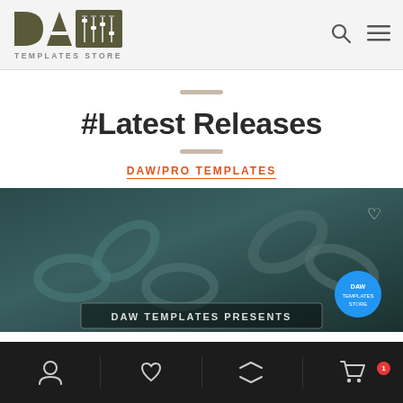[Figure (logo): DAW Templates Store logo with stylized letters DAW and mixer/fader icon, text TEMPLATES STORE below]
[Figure (illustration): Search icon (magnifying glass) in header navigation]
[Figure (illustration): Hamburger menu icon in header navigation]
#Latest Releases
DAW/PRO TEMPLATES
[Figure (photo): Dark teal-toned photo of metal chains/locks with overlay text DAW TEMPLATES PRESENTS and a blue circular badge in bottom right]
[Figure (illustration): Bottom navigation bar with person/user icon, heart icon, refresh/compare icon, and shopping cart icon with badge showing 1]